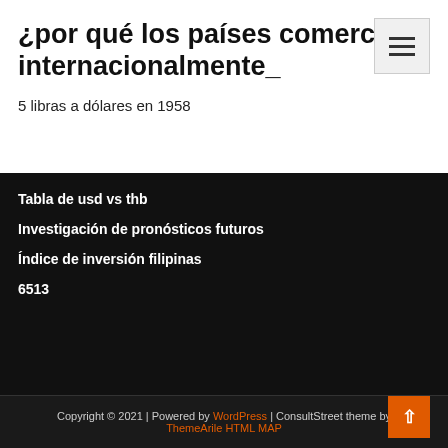¿por qué los países comercian internacionalmente_
5 libras a dólares en 1958
Tabla de usd vs thb
Investigación de pronósticos futuros
Índice de inversión filipinas
6513
Copyright © 2021 | Powered by WordPress | ConsultStreet theme by ThemeArile HTML MAP